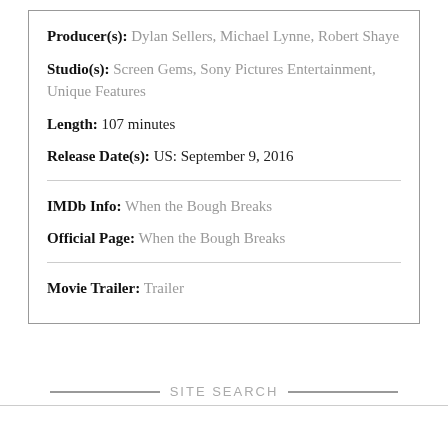Producer(s): Dylan Sellers, Michael Lynne, Robert Shaye
Studio(s): Screen Gems, Sony Pictures Entertainment, Unique Features
Length: 107 minutes
Release Date(s): US: September 9, 2016
IMDb Info: When the Bough Breaks
Official Page: When the Bough Breaks
Movie Trailer: Trailer
SITE SEARCH